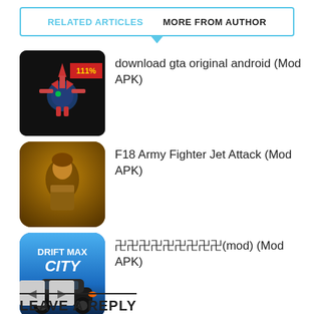RELATED ARTICLES   MORE FROM AUTHOR
download gta original android (Mod APK)
F18 Army Fighter Jet Attack (Mod APK)
卐卐卐卐卐卐卐卐卐(mod) (Mod APK)
LEAVE A REPLY